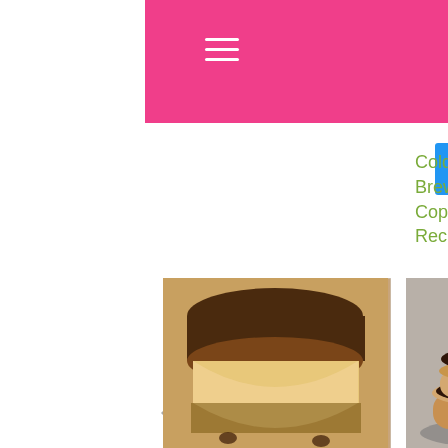Cold Brew Copycat Recipe
[Figure (photo): Peanut butter and chocolate shortbread cup cut in half showing peanut butter filling]
Peanut Butter & Chocolate Shortbread Cups
[Figure (photo): Stack of chewy peanut butter filled cookies with salted chocolate fudge frosting on a plate]
Chewy Peanut Butter Filled Cookies w/ Salted Chocolate Fudge Frosting
Rate This
Rate this (3 Votes)